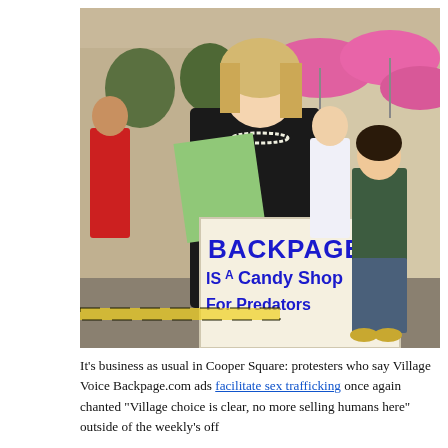[Figure (photo): Protest scene at Cooper Square. A woman in a black top wearing pearl necklaces holds a green paper and a white sign reading 'BACKPAGE Is A Candy Shop For Predators' in large blue hand-written letters. Behind her, protesters carry bright pink umbrellas. A young woman in a dark green t-shirt and jeans stands to the right.]
It's business as usual in Cooper Square: protesters who say Village Voice Backpage.com ads facilitate sex trafficking once again chanted "Village choice is clear, no more selling humans here" outside of the weekly's off